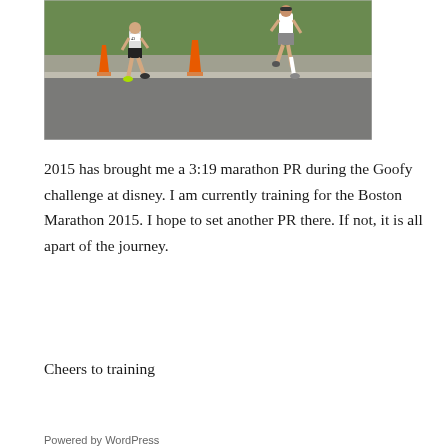[Figure (photo): Photograph of runners in a road race, with orange traffic cones visible. Multiple runners on a paved road with green grass in the background.]
2015 has brought me a 3:19 marathon PR during the Goofy challenge at disney. I am currently training for the Boston Marathon 2015. I hope to set another PR there. If not, it is all apart of the journey.
Cheers to training
Powered by WordPress